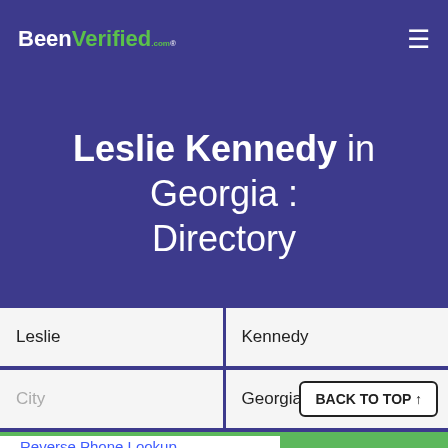BeenVerified.com
Leslie Kennedy in Georgia : Directory
Leslie | Kennedy
City | Georgia
SEARCH
Reverse Phone Lookup
Email Lookup
Reverse Address Lookup
BACK TO TOP ↑